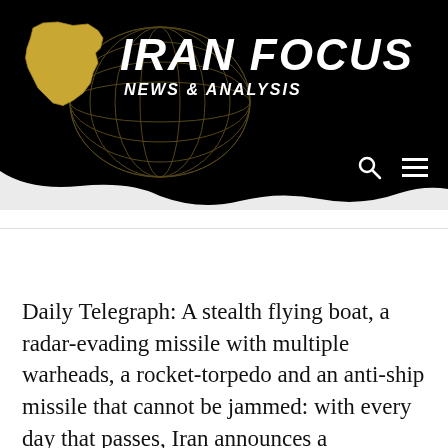[Figure (logo): Iran Focus News & Analysis logo with gold Iran map silhouette and globe graphic on black background]
Daily Telegraph: A stealth flying boat, a radar-evading missile with multiple warheads, a rocket-torpedo and an anti-ship missile that cannot be jammed: with every day that passes, Iran announces a development in its military hardware